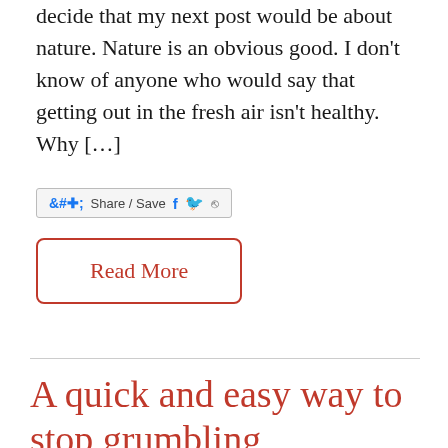decide that my next post would be about nature. Nature is an obvious good. I don't know of anyone who would say that getting out in the fresh air isn't healthy. Why […]
[Figure (other): Share / Save button with social media icons (Facebook, Twitter, share arrow)]
Read More
A quick and easy way to stop grumbling